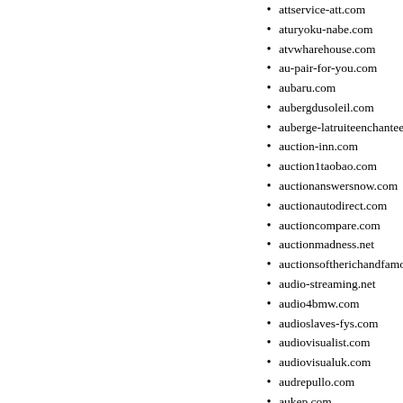attservice-att.com
aturyoku-nabe.com
atvwharehouse.com
au-pair-for-you.com
aubaru.com
aubergdusoleil.com
auberge-latruiteenchantee.com
auction-inn.com
auction1taobao.com
auctionanswersnow.com
auctionautodirect.com
auctioncompare.com
auctionmadness.net
auctionsoftherichandfamous
audio-streaming.net
audio4bmw.com
audioslaves-fys.com
audiovisualist.com
audiovisualuk.com
audrepullo.com
aukep.com
aunetbox.net
auntjansplace.com
auntybabs.com
auntysarah.com
auotowners.com
aupair-for-you.com
aurelie-et-michael.net